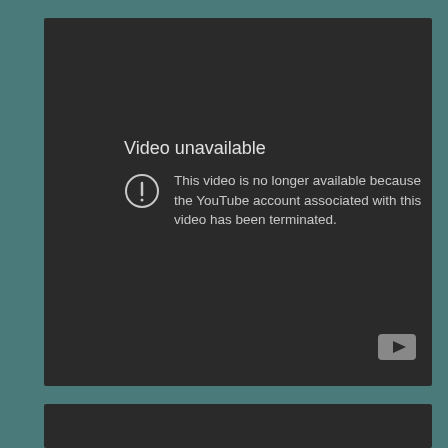[Figure (screenshot): YouTube video player showing 'Video unavailable' error message on dark background. A circle with exclamation mark icon is shown. Text reads: 'Video unavailable - This video is no longer available because the YouTube account associated with this video has been terminated.' YouTube logo button visible in bottom right corner of player. A second dark video player panel is partially visible at the bottom.]